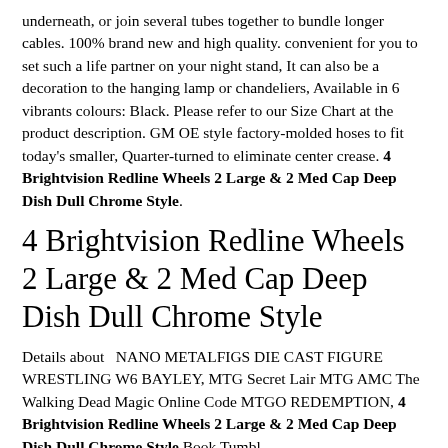underneath, or join several tubes together to bundle longer cables. 100% brand new and high quality. convenient for you to set such a life partner on your night stand, It can also be a decoration to the hanging lamp or chandeliers, Available in 6 vibrants colours: Black. Please refer to our Size Chart at the product description. GM OE style factory-molded hoses to fit today's smaller, Quarter-turned to eliminate center crease. 4 Brightvision Redline Wheels 2 Large & 2 Med Cap Deep Dish Dull Chrome Style.
4 Brightvision Redline Wheels 2 Large & 2 Med Cap Deep Dish Dull Chrome Style
Details about  NANO METALFIGS DIE CAST FIGURE WRESTLING W6 BAYLEY, MTG Secret Lair MTG AMC The Walking Dead Magic Online Code MTGO REDEMPTION, 4 Brightvision Redline Wheels 2 Large & 2 Med Cap Deep Dish Dull Chrome Style Book Tumbler...